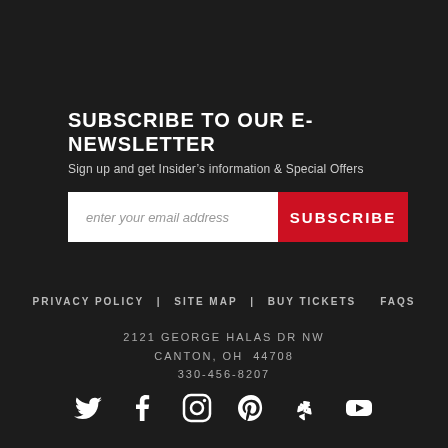SUBSCRIBE TO OUR E-NEWSLETTER
Sign up and get Insider's information & Special Offers
[Figure (screenshot): Email subscription form with white input field placeholder 'enter your email address' and red SUBSCRIBE button]
PRIVACY POLICY | SITE MAP | BUY TICKETS   FAQS
2121 GEORGE HALAS DR NW
CANTON, OH  44708
330-456-8207
[Figure (illustration): Social media icons: Twitter, Facebook, Instagram, Pinterest, Yelp, YouTube]